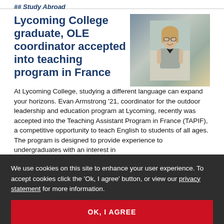## Study Abroad
Lycoming College graduate, OLE coordinator accepted into teaching program in France
[Figure (photo): Photo of Evan Armstrong, a young man with long hair and glasses, smiling, wearing a polo shirt, standing indoors]
At Lycoming College, studying a different language can expand your horizons. Evan Armstrong '21, coordinator for the outdoor leadership and education program at Lycoming, recently was accepted into the Teaching Assistant Program in France (TAPIF), a competitive opportunity to teach English to students of all ages. The program is designed to provide experience to undergraduates with an interest in more.
We use cookies on this site to enhance your user experience. To accept cookies click the 'Ok, I agree' button, or view our privacy statement for more information.
OK, I AGREE